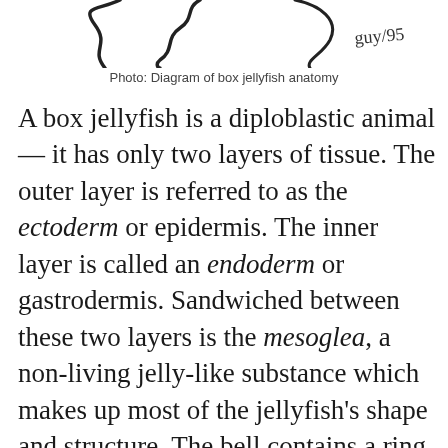[Figure (illustration): Partial illustration of box jellyfish anatomy diagram (top portion, cropped), with handwritten annotation 'guy/95' in top right corner.]
Photo: Diagram of box jellyfish anatomy
A box jellyfish is a diploblastic animal — it has only two layers of tissue. The outer layer is referred to as the ectoderm or epidermis. The inner layer is called an endoderm or gastrodermis. Sandwiched between these two layers is the mesoglea, a non-living jelly-like substance which makes up most of the jellyfish's shape and structure. The bell contains a ring of contractile cells, which function similarly to muscles in other animals and provide the contraction force necessary to propel it through the water.